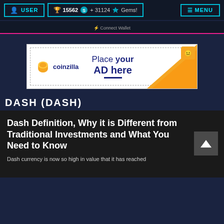USER | 🏆 15562 + 31124 💎 Gems! | MENU
⚡ Connect Wallet
[Figure (other): Coinzilla advertisement banner: Place your AD here]
DASH (DASH)
Dash Definition, Why it is Different from Traditional Investments and What You Need to Know
Dash currency is now so high in value that it has reached